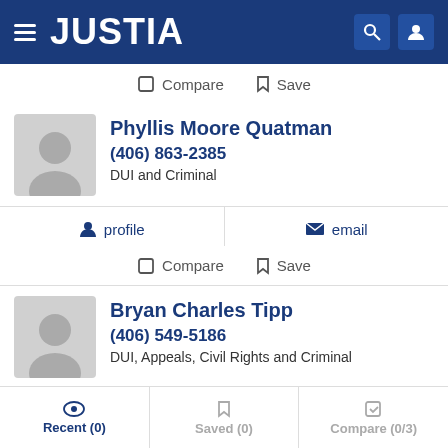[Figure (logo): Justia logo in white text on dark blue header with hamburger menu, search icon, and user icon]
Compare  Save
Phyllis Moore Quatman
(406) 863-2385
DUI and Criminal
profile   email
Compare  Save
Bryan Charles Tipp
(406) 549-5186
DUI, Appeals, Civil Rights and Criminal
Recent (0)   Saved (0)   Compare (0/3)